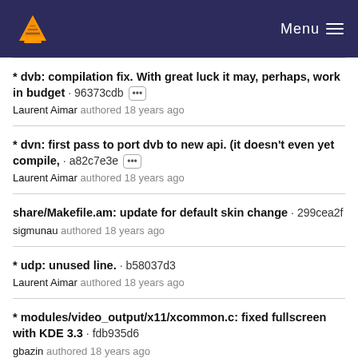VLC Menu
* dvb: compilation fix. With great luck it may, perhaps, work in budget · 96373cdb
Laurent Aimar authored 18 years ago
* dvn: first pass to port dvb to new api. (it doesn't even yet compile, · a82c7e3e
Laurent Aimar authored 18 years ago
share/Makefile.am: update for default skin change · 299cea2f
sigmunau authored 18 years ago
* udp: unused line. · b58037d3
Laurent Aimar authored 18 years ago
* modules/video_output/x11/xcommon.c: fixed fullscreen with KDE 3.3 · fdb935d6
gbazin authored 18 years ago